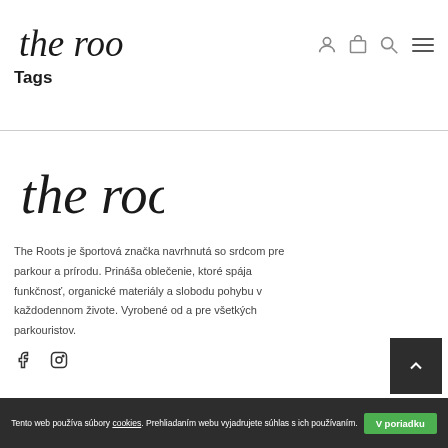the roots — Tags
Tags
[Figure (logo): The Roots brand logo — stylized handwritten text 'the roots' in black]
The Roots je športová značka navrhnutá so srdcom pre parkour a prírodu. Prináša oblečenie, ktoré spája funkčnosť, organické materiály a slobodu pohybu v každodennom živote. Vyrobené od a pre všetkých parkouristov.
Tento web používa súbory cookies. Prehliadaním webu vyjadrujete súhlas s ich používaním. V poriadku